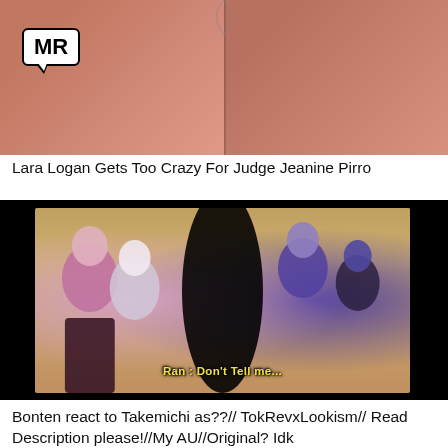[Figure (screenshot): YouTube thumbnail showing two women's faces close up, with a white speech bubble logo with 'MR' text in bold on the left side]
Lara Logan Gets Too Crazy For Judge Jeanine Pirro
[Figure (screenshot): YouTube thumbnail showing anime-style chibi characters from Tokyo Revengers/Lookism crossover, with text 'Ran : Don't Tell me...' overlaid in yellow]
Bonten react to Takemichi as??// TokRevxLookism// Read Description please!//My AU//Original? Idk